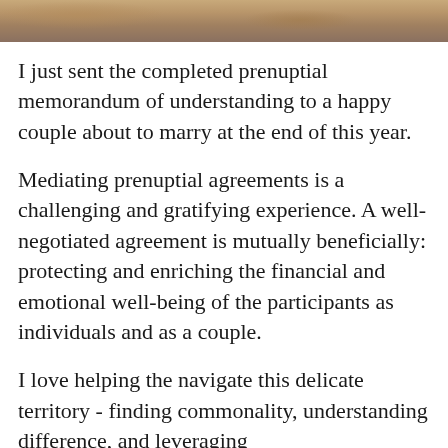[Figure (photo): Partial photo strip at top of page, appears to show an outdoor or natural scene with warm brown/tan tones]
I just sent the completed prenuptial memorandum of understanding to a happy couple about to marry at the end of this year.
Mediating prenuptial agreements is a challenging and gratifying experience. A well-negotiated agreement is mutually beneficially: protecting and enriching the financial and emotional well-being of the participants as individuals and as a couple.
I love helping the navigate this delicate territory - finding commonality, understanding difference, and leveraging